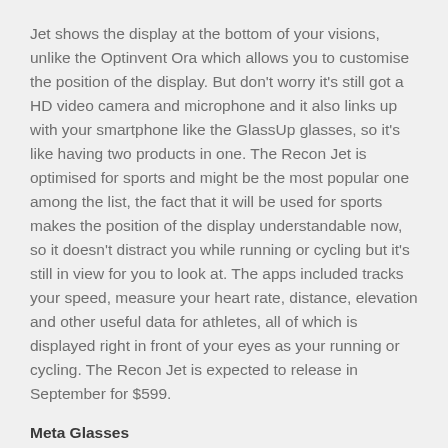Jet shows the display at the bottom of your visions, unlike the Optinvent Ora which allows you to customise the position of the display. But don't worry it's still got a HD video camera and microphone and it also links up with your smartphone like the GlassUp glasses, so it's like having two products in one. The Recon Jet is optimised for sports and might be the most popular one among the list, the fact that it will be used for sports makes the position of the display understandable now, so it doesn't distract you while running or cycling but it's still in view for you to look at. The apps included tracks your speed, measure your heart rate, distance, elevation and other useful data for athletes, all of which is displayed right in front of your eyes as your running or cycling. The Recon Jet is expected to release in September for $599.
Meta Glasses